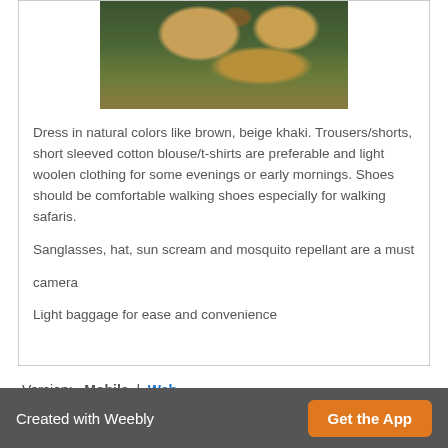[Figure (photo): A close-up photo of a lion cub lying on the ground with grass/dry vegetation, viewed from above. The cub is golden/tan colored.]
Dress in natural colors like brown, beige khaki. Trousers/shorts, short sleeved cotton blouse/t-shirts are preferable and light woolen clothing for some evenings or early mornings. Shoes should be comfortable walking shoes especially for walking safaris.
Sanglasses, hat, sun scream and mosquito repellant are a must
camera
Light baggage for ease and convenience
Version:  Mobile |  Web
Created with Weebly   Get the App